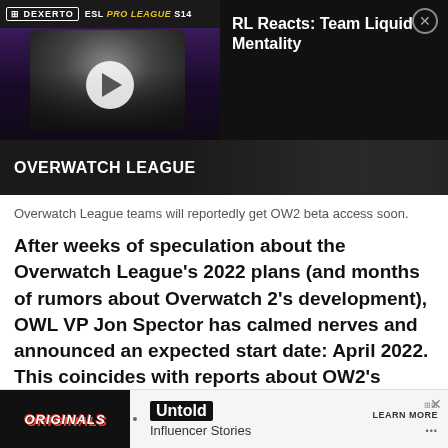[Figure (screenshot): ESL Pro League S14 video thumbnail with a person on screen, play button overlay, Dexerto branding at top]
RL Reacts: Team Liquid Mentality
[Figure (photo): Overwatch League banner with dark background and people visible on right side, white OVERWATCH LEAGUE label]
Overwatch League teams will reportedly get OW2 beta access soon.
After weeks of speculation about the Overwatch League's 2022 plans (and months of rumors about Overwatch 2's development), OWL VP Jon Spector has calmed nerves and announced an expected start date: April 2022. This coincides with reports about OW2's progress.
[Figure (screenshot): Advertisement banner: Originals logo on left, Untold Influencer Stories ad with Learn More button on right]